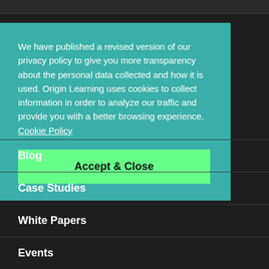We have published a revised version of our privacy policy to give you more transparency about the personal data collected and how it is used. Origin Learning uses cookies to collect information in order to analyze our traffic and provide you with a better browsing experience.  Cookie Policy
Accept & Close
Blog
Case Studies
White Papers
Events